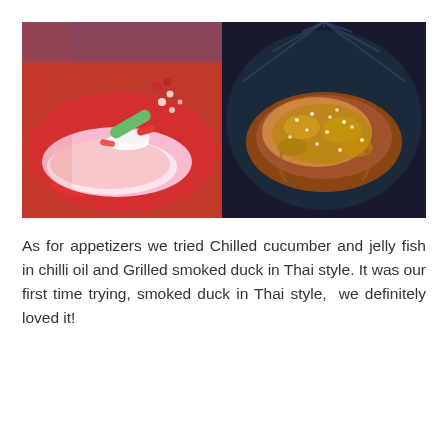[Figure (photo): Two food photos side by side: left photo shows chilled cucumber and jelly fish on a red plate with green pepper and egg; right photo shows grilled smoked duck in Thai style on a dark decorative plate with sesame seeds and sauce.]
As for appetizers we tried Chilled cucumber and jelly fish in chilli oil and Grilled smoked duck in Thai style. It was our first time trying, smoked duck in Thai style,  we definitely loved it!